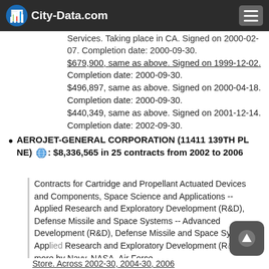City-Data.com
Services. Taking place in CA. Signed on 2000-02-07. Completion date: 2000-09-30. $679,900, same as above. Signed on 1999-12-02. Completion date: 2000-09-30. $496,897, same as above. Signed on 2000-04-18. Completion date: 2000-09-30. $440,349, same as above. Signed on 2001-12-14. Completion date: 2002-09-30.
AEROJET-GENERAL CORPORATION (11411 139TH PL NE): $8,336,565 in 25 contracts from 2002 to 2006
Contracts for Cartridge and Propellant Actuated Devices and Components, Space Science and Applications -- Applied Research and Exploratory Development (R&D), Defense Missile and Space Systems -- Advanced Development (R&D), Defense Missile and Space Systems -- Applied Research and Exploratory Development (R&D), and more by Navy, NASA, Air Force